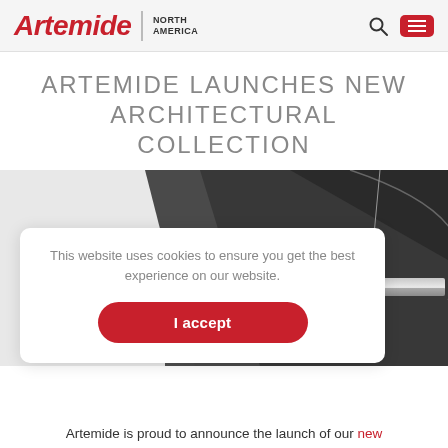Artemide | NORTH AMERICA
ARTEMIDE LAUNCHES NEW ARCHITECTURAL COLLECTION
[Figure (screenshot): Artemide architectural product image showing a linear pendant light fixture against a dark background, with the 'A.' Architectural New Products logo overlay in the lower left.]
This website uses cookies to ensure you get the best experience on our website.
I accept
Artemide is proud to announce the launch of our new